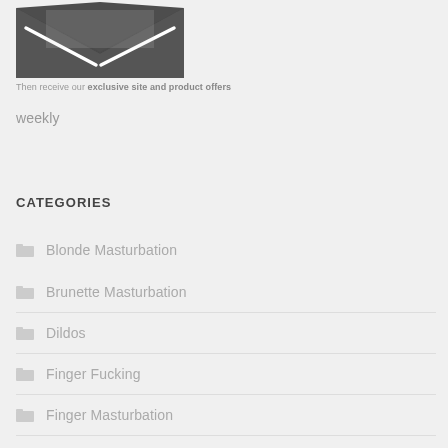[Figure (illustration): Dark grey envelope icon with white letter/X pattern, partially cropped at top]
Then receive our exclusive site and product offers
weekly
CATEGORIES
Blonde Masturbation
Brunette Masturbation
Dildos
Finger Fucking
Finger Masturbation